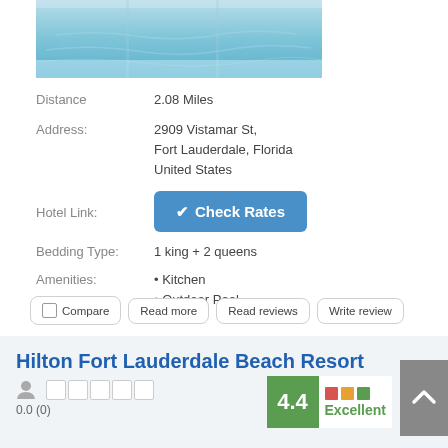[Figure (photo): Swimming pool photo, top portion visible with blue water]
Distance	2.08 Miles
Address:	2909 Vistamar St,
Fort Lauderdale, Florida
United States
Hotel Link:
✔ Check Rates
Bedding Type:	1 king + 2 queens
Amenities:	• Kitchen
• Outdoor Pool
Compare
Read more
Read reviews
Write review
Hilton Fort Lauderdale Beach Resort
0.0 (0)
4.4 Excellent